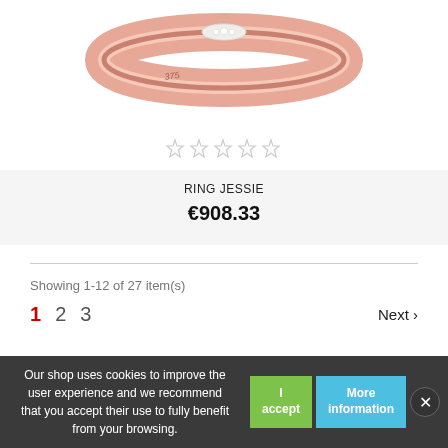[Figure (photo): Close-up photo of a rose gold ring (Ring Jessie) with diamond accents on a white background, showing '375' hallmark stamp]
☆☆☆☆☆
RING JESSIE
€908.33
Showing 1-12 of 27 item(s)
1  2  3  Next >
Our shop uses cookies to improve the user experience and we recommend that you accept their use to fully benefit from your browsing.